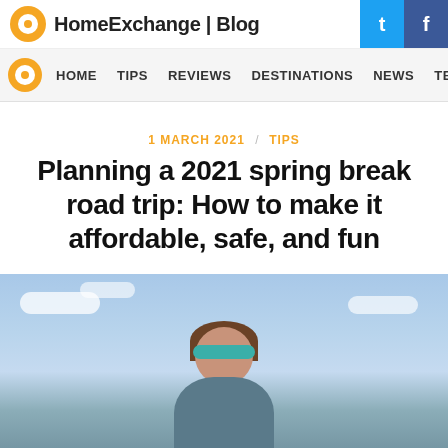HomeExchange | Blog
HOME  TIPS  REVIEWS  DESTINATIONS  NEWS  TEL
1 MARCH 2021 / TIPS
Planning a 2021 spring break road trip: How to make it affordable, safe, and fun
[Figure (photo): Woman with teal headband outdoors against a blue sky with clouds]